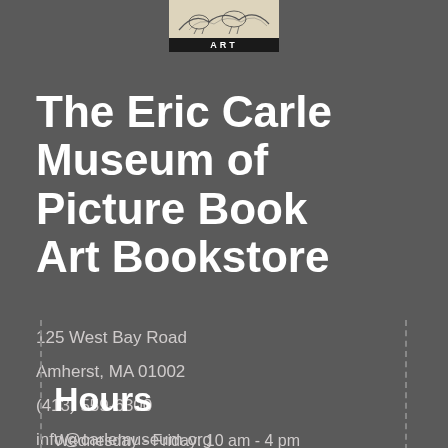[Figure (logo): Eric Carle Museum of Picture Book Art logo with animal sketch illustration on light background and 'ART' text label on dark banner]
The Eric Carle Museum of Picture Book Art Bookstore
125 West Bay Road
Amherst, MA 01002
(413) 559-6300
info@carlemuseum.org
Hours
Wednesday - Friday: 10 am - 4 pm